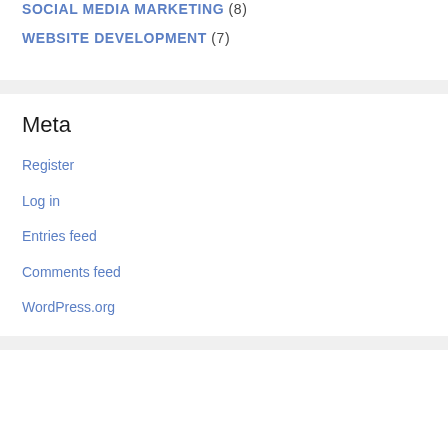SOCIAL MEDIA MARKETING (8)
WEBSITE DEVELOPMENT (7)
Meta
Register
Log in
Entries feed
Comments feed
WordPress.org